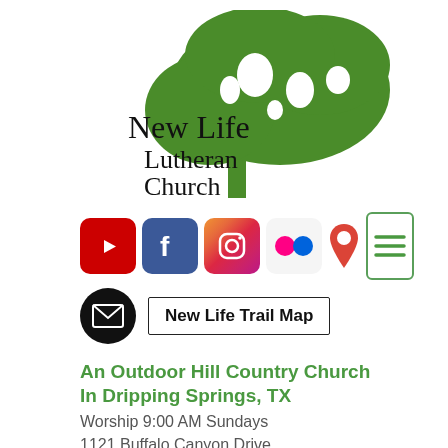[Figure (logo): New Life Lutheran Church logo: green oak tree silhouette with text 'New Life Lutheran Church' below-left in black serif font]
[Figure (infographic): Row of social media icons: YouTube (red), Facebook (blue), Instagram (gradient), Flickr (dots on light background), Google Maps pin, and a green menu/hamburger icon button]
[Figure (infographic): Email icon (envelope in black circle) and a 'New Life Trail Map' button with black border]
An Outdoor Hill Country Church
In Dripping Springs, TX
Worship 9:00 AM Sundays
1121 Buffalo Canyon Drive